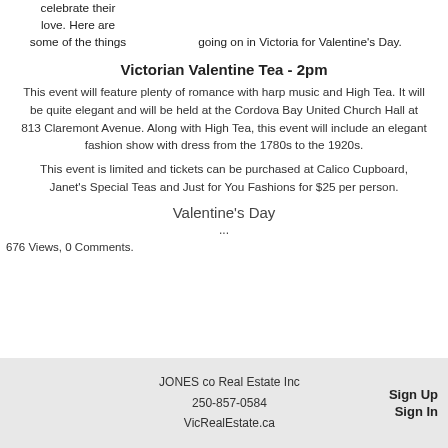celebrate their love. Here are some of the things going on in Victoria for Valentine's Day.
Victorian Valentine Tea - 2pm
This event will feature plenty of romance with harp music and High Tea. It will be quite elegant and will be held at the Cordova Bay United Church Hall at 813 Claremont Avenue. Along with High Tea, this event will include an elegant fashion show with dress from the 1780s to the 1920s.
This event is limited and tickets can be purchased at Calico Cupboard, Janet's Special Teas and Just for You Fashions for $25 per person.
Valentine's Day
...
676 Views, 0 Comments.
JONES co Real Estate Inc  250-857-0584  VicRealEstate.ca  Sign Up  Sign In